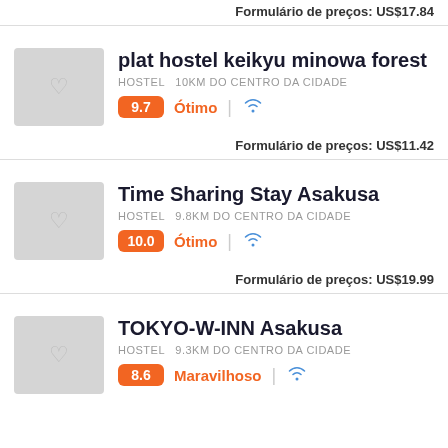Formulário de preços: US$17.84
plat hostel keikyu minowa forest
HOSTEL  10km do centro da cidade
9.7  Ótimo
Formulário de preços: US$11.42
Time Sharing Stay Asakusa
HOSTEL  9.8km do centro da cidade
10.0  Ótimo
Formulário de preços: US$19.99
TOKYO-W-INN Asakusa
HOSTEL  9.3km do centro da cidade
8.6  Maravilhoso